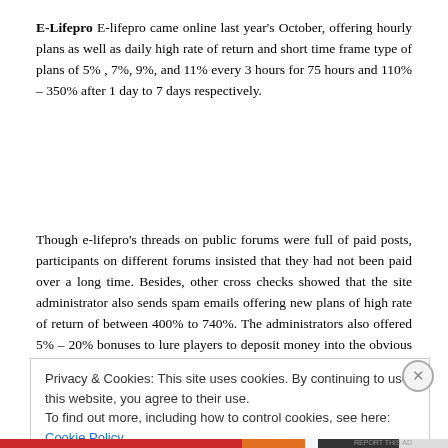E-Lifepro E-lifepro came online last year's October, offering hourly plans as well as daily high rate of return and short time frame type of plans of 5% , 7%, 9%, and 11% every 3 hours for 75 hours and 110% – 350% after 1 day to 7 days respectively.
Though e-lifepro's threads on public forums were full of paid posts, participants on different forums insisted that they had not been paid over a long time. Besides, other cross checks showed that the site administrator also sends spam emails offering new plans of high rate of return of between 400% to 740%. The administrators also offered 5% – 20% bonuses to lure players to deposit money into the obvious scam.
Privacy & Cookies: This site uses cookies. By continuing to use this website, you agree to their use. To find out more, including how to control cookies, see here: Cookie Policy